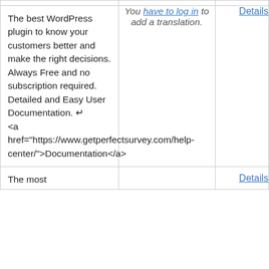| Description | Translation | Details |
| --- | --- | --- |
| The best WordPress plugin to know your customers better and make the right decisions. Always Free and no subscription required. Detailed and Easy User Documentation. ↵ <a href="https://www.getperfectsurvey.com/help-center/">Documentation</a> | You have to log in to add a translation. | Details |
| The most |  | Details |